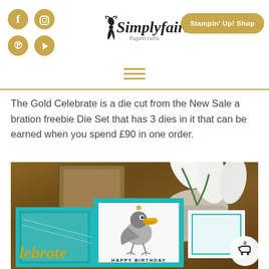[Figure (logo): Simplyfairies Papercrafts logo with fairy silhouette and cursive text]
[Figure (infographic): Website header with social media icons (Facebook, Instagram, Pinterest, YouTube) as gold circles, Simplyfairies Papercrafts logo in center, and Stampin Up Shop button on right]
The Gold Celebrate is a die cut from the New Sale a bration freebie Die Set that has 3 dies in it that can be earned when you spend £90 in one order.
[Figure (photo): Photo showing handmade birthday cards with a toucan illustration saying HAPPY BIRTHDAY, teal card borders, gold celebrate text die cut, orchid flowers and wooden box in background, shopping cart button with 0 items in corner]